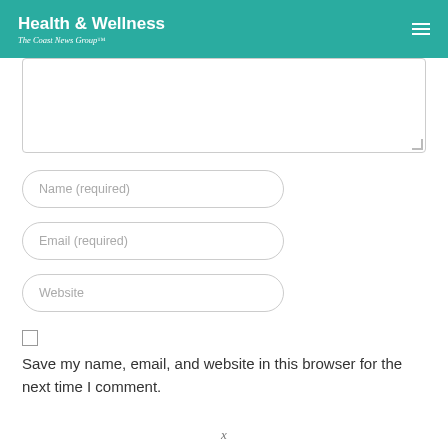Health & Wellness
The Coast News Group™
[Figure (screenshot): A comment form with a large textarea, three input fields (Name required, Email required, Website), a checkbox, and a save label text.]
Name (required)
Email (required)
Website
Save my name, email, and website in this browser for the next time I comment.